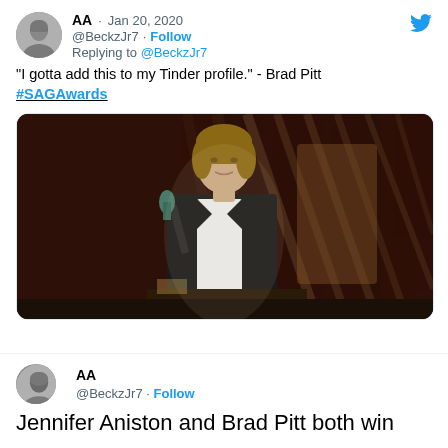AA · Jan 20, 2020 @BeckzJr7 · Follow Replying to @BeckzJr7
"I gotta add this to my Tinder profile." - Brad Pitt #SAGAwards
[Figure (photo): Brad Pitt standing at a podium holding a microphone and an award, wearing a dark suit, speaking at the SAG Awards ceremony]
AA @BeckzJr7 · Follow
Jennifer Aniston and Brad Pitt both win